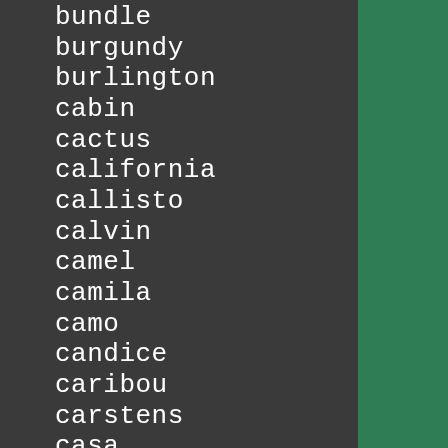bundle
burgundy
burlington
cabin
cactus
california
callisto
calvin
camel
camila
camo
candice
caribou
carstens
casa
casaluna
cassey
celeste
cest